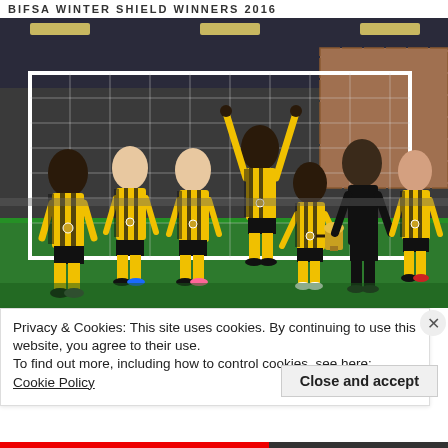BIFSA WINTER SHIELD WINNERS 2016
[Figure (photo): Group photo of youth girls football team in black and yellow striped kits, wearing medals, standing in front of a goal net indoors. A coach in black holds a trophy.]
Privacy & Cookies: This site uses cookies. By continuing to use this website, you agree to their use.
To find out more, including how to control cookies, see here: Cookie Policy
Close and accept